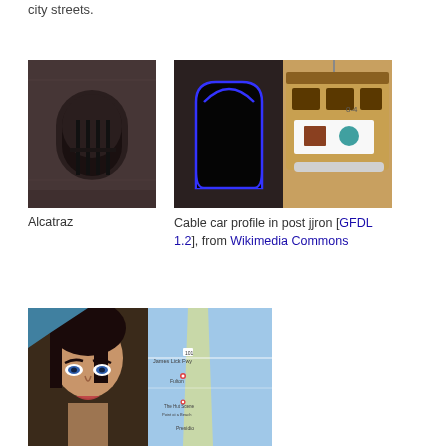city streets.
[Figure (photo): Alcatraz building facade with arched windows, dark/moody tone]
Alcatraz
[Figure (photo): Cable car profile silhouette on left with blue outline, cable car photo on right showing front of San Francisco cable car]
Cable car profile in post jjron [GFDL 1.2], from Wikimedia Commons
[Figure (photo): Left half: portrait of a dark-haired woman's face. Right half: Google map showing coastal area near Presidio, San Francisco]